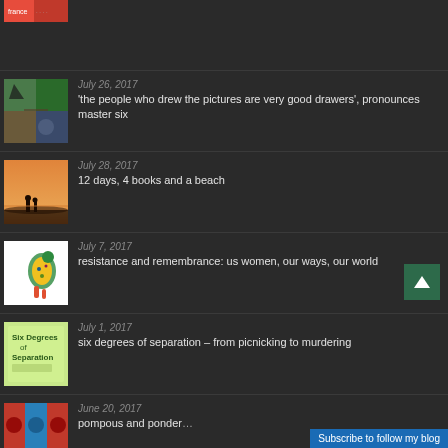[Figure (photo): Partial top thumbnail of colorful image, cropped at top]
[Figure (photo): Thumbnail of people at a celebration/parade with flags]
July 26, 2017
'the people who drew the pictures are very good drawers', pronounces master six
[Figure (photo): Thumbnail of silhouettes of two people at sunset by water]
July 28, 2017
12 days, 4 books and a beach
[Figure (illustration): Thumbnail of decorative kangaroo illustration]
July 7, 2017
resistance and remembrance: us women, our ways, our world
[Figure (photo): Thumbnail of Six Degrees of Separation book cover]
July 1, 2017
six degrees of separation – from picnicking to murdering
[Figure (photo): Partial thumbnail of colorful pop-art style image]
June 20, 2017
pompous and ponder…
Subscribe to follow my blog